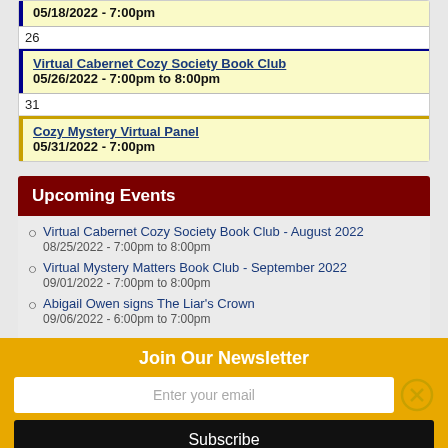05/18/2022 - 7:00pm
26
Virtual Cabernet Cozy Society Book Club
05/26/2022 - 7:00pm to 8:00pm
31
Cozy Mystery Virtual Panel
05/31/2022 - 7:00pm
Upcoming Events
Virtual Cabernet Cozy Society Book Club - August 2022
08/25/2022 - 7:00pm to 8:00pm
Virtual Mystery Matters Book Club - September 2022
09/01/2022 - 7:00pm to 8:00pm
Abigail Owen signs The Liar's Crown
09/06/2022 - 6:00pm to 7:00pm
Join Our Newsletter
Enter your email
Subscribe